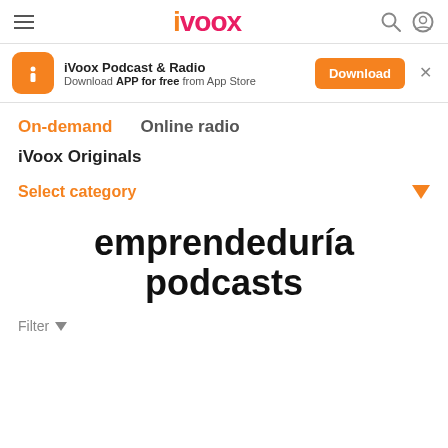iVoox
iVoox Podcast & Radio — Download APP for free from App Store
On-demand   Online radio
iVoox Originals
Select category
emprendeduría podcasts
Filter